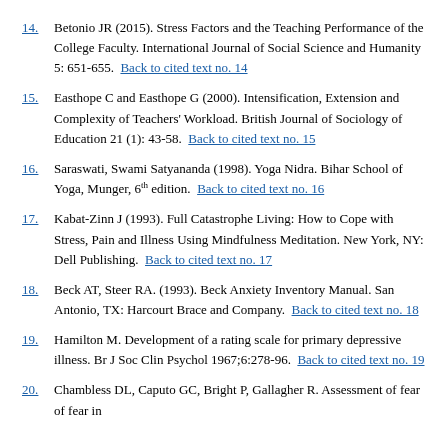14. Betonio JR (2015). Stress Factors and the Teaching Performance of the College Faculty. International Journal of Social Science and Humanity 5: 651-655. Back to cited text no. 14
15. Easthope C and Easthope G (2000). Intensification, Extension and Complexity of Teachers' Workload. British Journal of Sociology of Education 21 (1): 43-58. Back to cited text no. 15
16. Saraswati, Swami Satyananda (1998). Yoga Nidra. Bihar School of Yoga, Munger, 6th edition. Back to cited text no. 16
17. Kabat-Zinn J (1993). Full Catastrophe Living: How to Cope with Stress, Pain and Illness Using Mindfulness Meditation. New York, NY: Dell Publishing. Back to cited text no. 17
18. Beck AT, Steer RA. (1993). Beck Anxiety Inventory Manual. San Antonio, TX: Harcourt Brace and Company. Back to cited text no. 18
19. Hamilton M. Development of a rating scale for primary depressive illness. Br J Soc Clin Psychol 1967;6:278-96. Back to cited text no. 19
20. Chambless DL, Caputo GC, Bright P, Gallagher R. Assessment of fear of fear in agoraphobics: the body sensations questionnaire and the agoraphobic cognitions questionnaire. J Consult Clin Psychol 1984;52:1090-7.